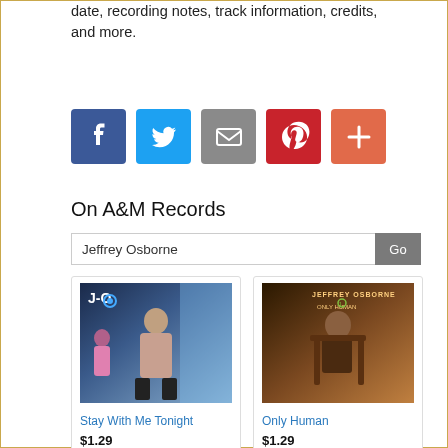date, recording notes, track information, credits, and more.
[Figure (infographic): Row of 5 social media share buttons: Facebook (dark blue), Twitter (light blue), Email/envelope (gray), Pinterest (red), Plus/more (coral orange)]
On A&M Records
Jeffrey Osborne
[Figure (photo): Album cover for 'Stay With Me Tonight' by Jeffrey Osborne - man standing in urban setting]
Stay With Me Tonight
$1.29
★★★★★ (69)
[Figure (photo): Album cover for 'Only Human' by Jeffrey Osborne - man seated in chair against warm background]
Only Human
$1.29
★★★★★ (19)